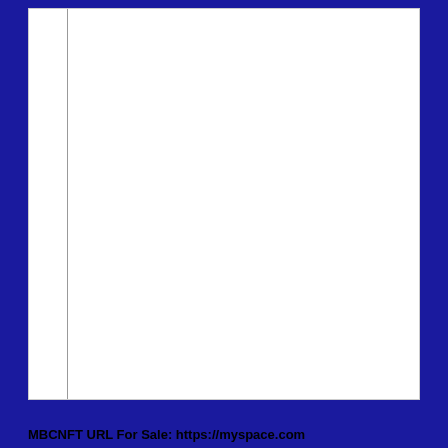MBCNFT URL For Sale: https://myspace.com